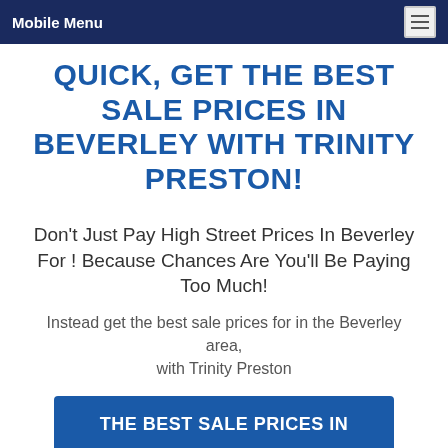Mobile Menu
QUICK, GET THE BEST SALE PRICES IN BEVERLEY WITH TRINITY PRESTON!
Don't Just Pay High Street Prices In Beverley For ! Because Chances Are You'll Be Paying Too Much!
Instead get the best sale prices for in the Beverley area, with Trinity Preston
THE BEST SALE PRICES IN